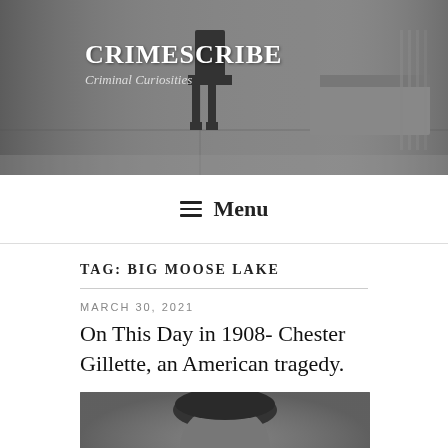[Figure (photo): Black and white header banner with silhouette of electric chair and darkened room background]
CRIMESCRIBE
Criminal Curiosities
≡ Menu
TAG: BIG MOOSE LAKE
MARCH 30, 2021
On This Day in 1908- Chester Gillette, an American tragedy.
[Figure (photo): Black and white historical portrait photograph of Chester Gillette]